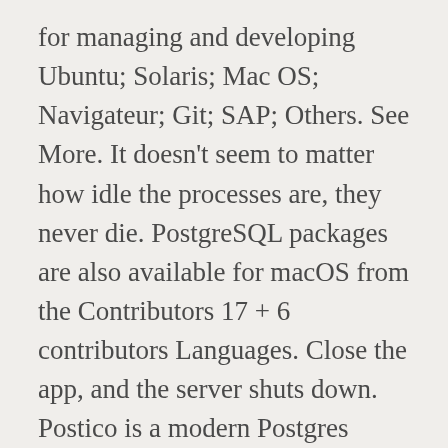for managing and developing Ubuntu; Solaris; Mac OS; Navigateur; Git; SAP; Others. See More. It doesn't seem to matter how idle the processes are, they never die. PostgreSQL packages are also available for macOS from the Contributors 17 + 6 contributors Languages. Close the app, and the server shuts down. Postico is a modern Postgres client for OSX, built by the same developer who built Postgres.app (mentioned above). Anyway TablePlus isn't as nice as sequel pro but it's in that ballpark. Using Homebrew. This command initializes the database. 4. Postbox is probably one of the best email clients in the market. Fink Project. using Homebrew. The installer is